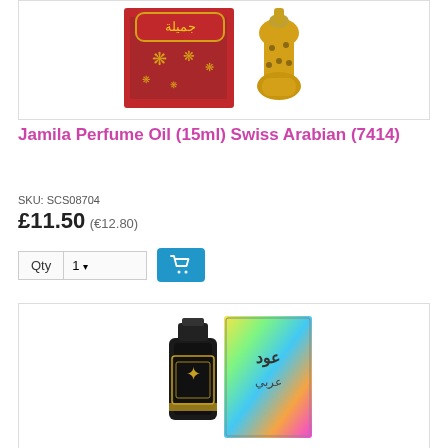[Figure (photo): Jamila perfume oil product image – red box with Arabic calligraphy and gold decorative bottle]
Jamila Perfume Oil (15ml) Swiss Arabian (7414)
SKU: SCS08704
£11.50 (€12.80)
Qty 1 [add to cart button]
[Figure (photo): Second perfume product image – black ornate bottle with gold detail and holographic box]